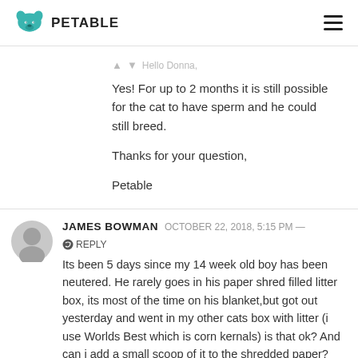PETABLE
Hello Donna,

Yes! For up to 2 months it is still possible for the cat to have sperm and he could still breed.

Thanks for your question,

Petable
JAMES BOWMAN   OCTOBER 22, 2018, 5:15 PM — REPLY
Its been 5 days since my 14 week old boy has been neutered. He rarely goes in his paper shred filled litter box, its most of the time on his blanket,but got out yesterday and went in my other cats box with litter (i use Worlds Best which is corn kernals) is that ok? And can i add a small scoop of it to the shredded paper?